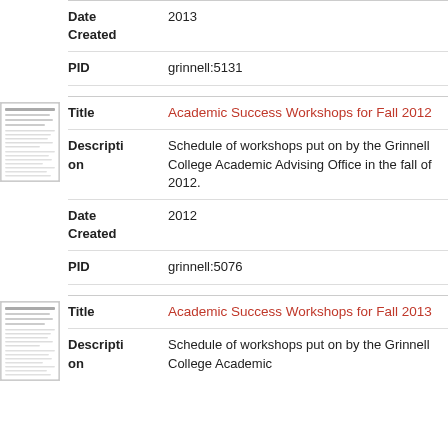| Field | Value |
| --- | --- |
| Date Created | 2013 |
| PID | grinnell:5131 |
[Figure (photo): Thumbnail image of document page for Academic Success Workshops for Fall 2012]
| Field | Value |
| --- | --- |
| Title | Academic Success Workshops for Fall 2012 |
| Description | Schedule of workshops put on by the Grinnell College Academic Advising Office in the fall of 2012. |
| Date Created | 2012 |
| PID | grinnell:5076 |
[Figure (photo): Thumbnail image of document page for Academic Success Workshops for Fall 2013]
| Field | Value |
| --- | --- |
| Title | Academic Success Workshops for Fall 2013 |
| Description | Schedule of workshops put on by the Grinnell College Academic |